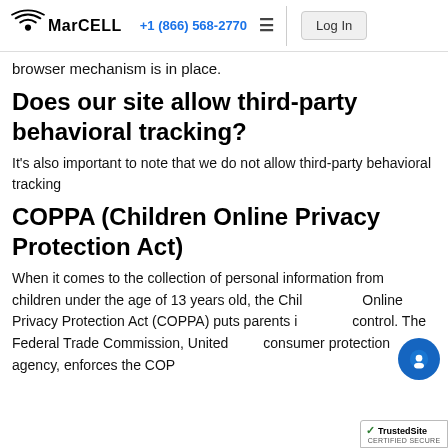MarCELL | +1 (866) 568-2770 | Log In
browser mechanism is in place.
Does our site allow third-party behavioral tracking?
It’s also important to note that we do not allow third-party behavioral tracking
COPPA (Children Online Privacy Protection Act)
When it comes to the collection of personal information from children under the age of 13 years old, the Children’s Online Privacy Protection Act (COPPA) puts parents in control. The Federal Trade Commission, United States’ consumer protection agency, enforces the COPP